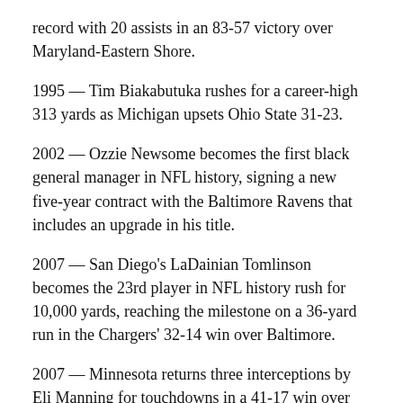record with 20 assists in an 83-57 victory over Maryland-Eastern Shore.
1995 — Tim Biakabutuka rushes for a career-high 313 yards as Michigan upsets Ohio State 31-23.
2002 — Ozzie Newsome becomes the first black general manager in NFL history, signing a new five-year contract with the Baltimore Ravens that includes an upgrade in his title.
2007 — San Diego's LaDainian Tomlinson becomes the 23rd player in NFL history rush for 10,000 yards, reaching the milestone on a 36-yard run in the Chargers' 32-14 win over Baltimore.
2007 — Minnesota returns three interceptions by Eli Manning for touchdowns in a 41-17 win over the New York Giants. Darren Sharper scores on a 20-yard return, Dwight Smith rumbles 93 yards and Chad Greenway follows from 27 yards just a few plays later.